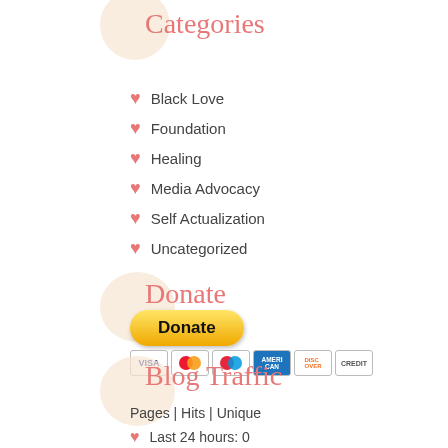Categories
Black Love
Foundation
Healing
Media Advocacy
Self Actualization
Uncategorized
Donate
[Figure (other): PayPal donate button with credit card icons (Visa, Mastercard, Maestro, Amex, Discover, Credit card)]
Blog Traffic
Pages | Hits  | Unique
Last 24 hours: 0